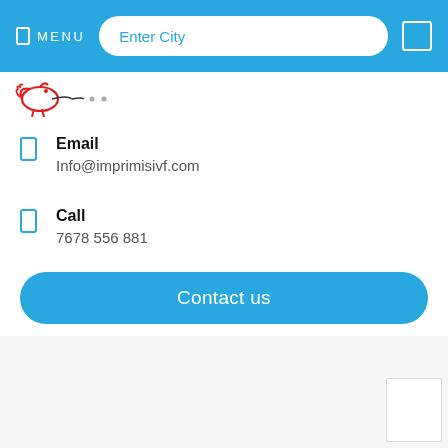MENU   Enter City
[Figure (logo): Red and black logo/icon in top left of content area]
Email
Info@imprimisivf.com
Call
7678 556 881
Contact us